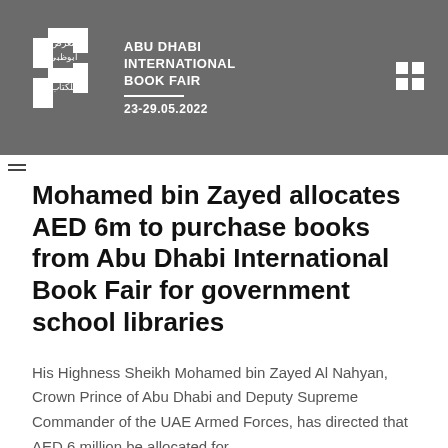[Figure (logo): Abu Dhabi International Book Fair logo with Arabic text (معرض أبوظبي الدولي للكتاب) on grey background, with date 23-29.05.2022]
Mohamed bin Zayed allocates AED 6m to purchase books from Abu Dhabi International Book Fair for government school libraries
His Highness Sheikh Mohamed bin Zayed Al Nahyan, Crown Prince of Abu Dhabi and Deputy Supreme Commander of the UAE Armed Forces, has directed that AED 6 million be allocated for